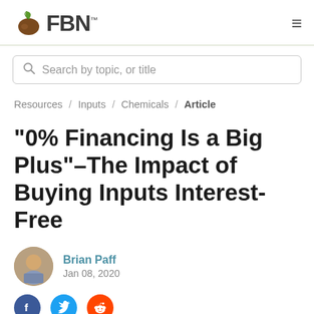FBN
Search by topic, or title
Resources / Inputs / Chemicals / Article
“0% Financing Is a Big Plus”–The Impact of Buying Inputs Interest-Free
Brian Paff
Jan 08, 2020